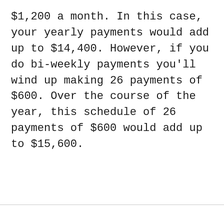$1,200 a month. In this case, your yearly payments would add up to $14,400. However, if you do bi-weekly payments you'll wind up making 26 payments of $600. Over the course of the year, this schedule of 26 payments of $600 would add up to $15,600.